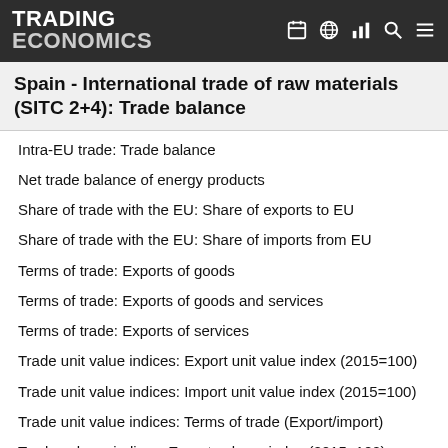TRADING ECONOMICS
Spain - International trade of raw materials (SITC 2+4): Trade balance
Intra-EU trade: Trade balance
Net trade balance of energy products
Share of trade with the EU: Share of exports to EU
Share of trade with the EU: Share of imports from EU
Terms of trade: Exports of goods
Terms of trade: Exports of goods and services
Terms of trade: Exports of services
Trade unit value indices: Export unit value index (2015=100)
Trade unit value indices: Import unit value index (2015=100)
Trade unit value indices: Terms of trade (Export/import)
Trade volume indices: Export volume index (2015=100)
Trade volume indices: Import volume index (2015=100)
Trade volume indices: Volume Ratio (Export/Import)
Turnover in services